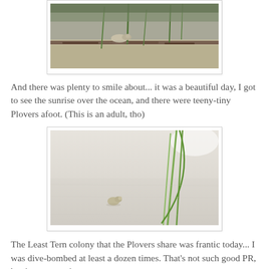[Figure (photo): A bird (Plover adult) camouflaged among sand, dried vegetation, and grass shoots at a beach]
And there was plenty to smile about... it was a beautiful day, I got to see the sunrise over the ocean, and there were teeny-tiny Plovers afoot. (This is an adult, tho)
[Figure (photo): A tiny Plover chick on white sand with green grass blades nearby]
The Least Tern colony that the Plovers share was frantic today... I was dive-bombed at least a dozen times. That's not such good PR, but it serves an important purpose.